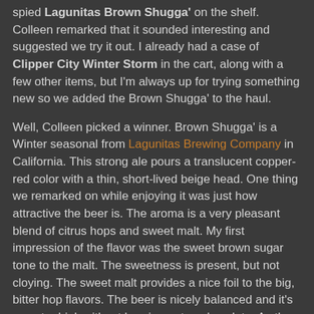spied Lagunitas Brown Shugga' on the shelf. Colleen remarked that it sounded interesting and suggested we try it out. I already had a case of Clipper City Winter Storm in the cart, along with a few other items, but I'm always up for trying something new so we added the Brown Shugga' to the haul.
Well, Colleen picked a winner. Brown Shugga' is a Winter seasonal from Lagunitas Brewing Company in California. This strong ale pours a translucent copper-red color with a thin, short-lived beige head. One thing we remarked on while enjoying it was just how attractive the beer is. The aroma is a very pleasant blend of citrus hops and sweet malt. My first impression of the flavor was the sweet brown sugar tone to the malt. The sweetness is present, but not cloying. The sweet malt provides a nice foil to the big, bitter hop flavors. The beer is nicely balanced and it's easy to drink without burning out one's palate. As the beer warmed, I began to pick up subtle fruit notes. Colleen pegged it as cherries. The flavor is complex and I spent too much time trying to pick out the subtleties. Next time, I'll just drink and enjoy. The ale has a thick, sticky mouthfeel with a lingering hop bitterness.